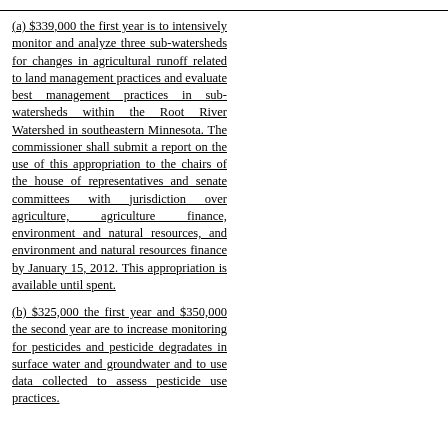(a) $339,000 the first year is to intensively monitor and analyze three sub-watersheds for changes in agricultural runoff related to land management practices and evaluate best management practices in sub-watersheds within the Root River Watershed in southeastern Minnesota. The commissioner shall submit a report on the use of this appropriation to the chairs of the house of representatives and senate committees with jurisdiction over agriculture, agriculture finance, environment and natural resources, and environment and natural resources finance by January 15, 2012. This appropriation is available until spent.
(b) $325,000 the first year and $350,000 the second year are to increase monitoring for pesticides and pesticide degradates in surface water and groundwater and to use data collected to assess pesticide use practices.